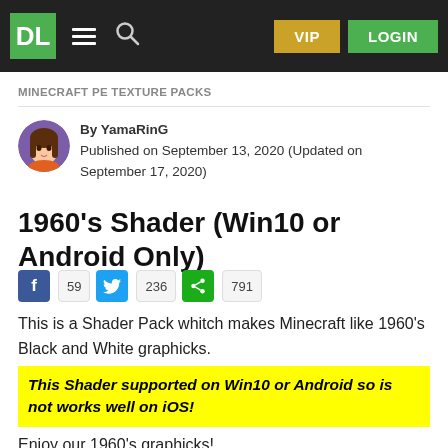DL  VIP  LOGIN
MINECRAFT PE TEXTURE PACKS
By YamaRinG
Published on September 13, 2020 (Updated on September 17, 2020)
1960's Shader (Win10 or Android Only)
59  236  791
This is a Shader Pack whitch makes Minecraft like 1960's Black and White graphicks.
This Shader supported on Win10 or Android so is not works well on iOS!
Enjoy our 1960's graphicks!